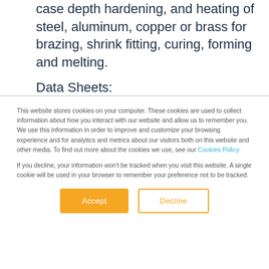case depth hardening, and heating of steel, aluminum, copper or brass for brazing, shrink fitting, curing, forming and melting.
Data Sheets:
This website stores cookies on your computer. These cookies are used to collect information about how you interact with our website and allow us to remember you. We use this information in order to improve and customize your browsing experience and for analytics and metrics about our visitors both on this website and other media. To find out more about the cookies we use, see our Cookies Policy.
If you decline, your information won't be tracked when you visit this website. A single cookie will be used in your browser to remember your preference not to be tracked.